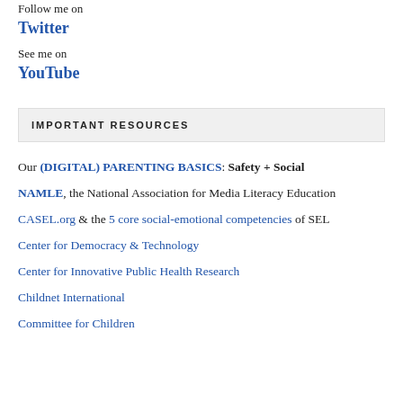Follow me on
Twitter
See me on
YouTube
IMPORTANT RESOURCES
Our (DIGITAL) PARENTING BASICS: Safety + Social
NAMLE, the National Association for Media Literacy Education
CASEL.org & the 5 core social-emotional competencies of SEL
Center for Democracy & Technology
Center for Innovative Public Health Research
Childnet International
Committee for Children